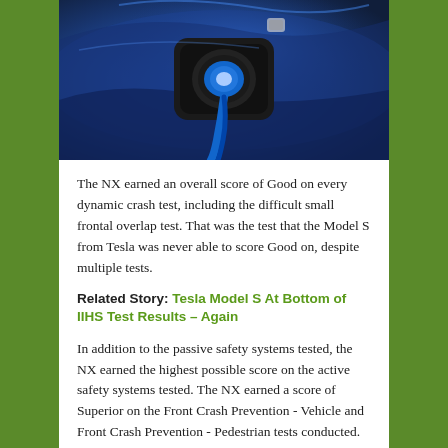[Figure (photo): Close-up photo of a blue electric vehicle charging port with a blue charging cable plugged in]
The NX earned an overall score of Good on every dynamic crash test, including the difficult small frontal overlap test. That was the test that the Model S from Tesla was never able to score Good on, despite multiple tests.
Related Story: Tesla Model S At Bottom of IIHS Test Results – Again
In addition to the passive safety systems tested, the NX earned the highest possible score on the active safety systems tested. The NX earned a score of Superior on the Front Crash Prevention - Vehicle and Front Crash Prevention - Pedestrian tests conducted. Every Lexus NX model comes equipped with advanced active